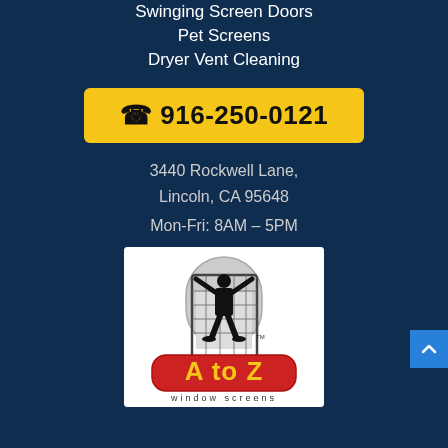Swinging Screen Doors
Pet Screens
Dryer Vent Cleaning
916-250-0121
3440 Rockwell Lane, Lincoln, CA 95648
Mon-Fri: 8AM – 5PM
[Figure (logo): A to Z Window Screens logo: silhouette of person holding a large screen panel, with 'A to Z' in yellow letters on a red rounded rectangle badge, and 'window screens' text below]